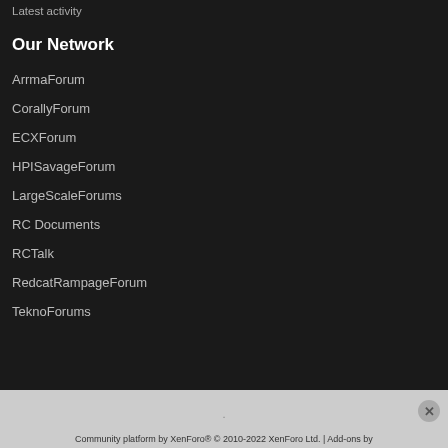Latest activity
Our Network
ArrmaForum
CorallyForum
ECXForum
HPISavageForum
LargeScaleForums
RC Documents
RCTalk
RedcatRampageForum
TeknoForums
Community platform by XenForo® © 2010-2022 XenForo Ltd. | Add-ons by